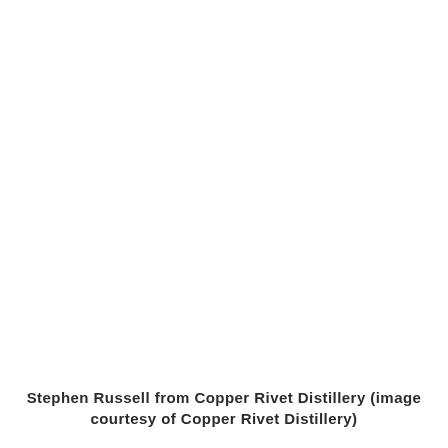[Figure (photo): White/blank image area representing a photograph (image not visible in this rendering)]
Stephen Russell from Copper Rivet Distillery (image courtesy of Copper Rivet Distillery)